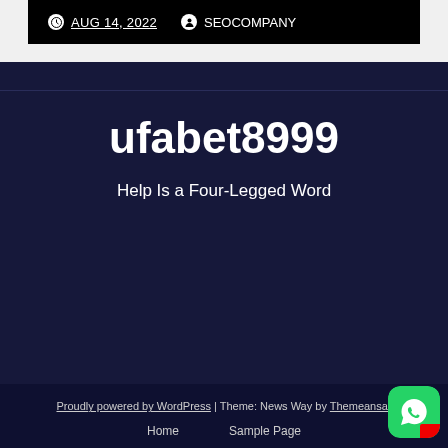AUG 14, 2022  SEOCOMPANY
ufabet8999
Help Is a Four-Legged Word
Proudly powered by WordPress | Theme: News Way by Themeansar
Home    Sample Page